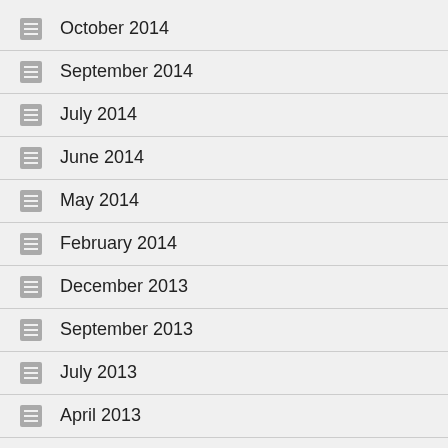October 2014
September 2014
July 2014
June 2014
May 2014
February 2014
December 2013
September 2013
July 2013
April 2013